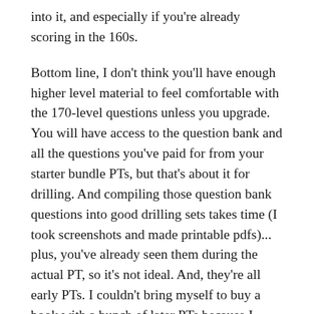into it, and especially if you're already scoring in the 160s.
Bottom line, I don't think you'll have enough higher level material to feel comfortable with the 170-level questions unless you upgrade. You will have access to the question bank and all the questions you've paid for from your starter bundle PTs, but that's about it for drilling. And compiling those question bank questions into good drilling sets takes time (I took screenshots and made printable pdfs)... plus, you've already seen them during the actual PT, so it's not ideal. And, they're all early PTs. I couldn't bring myself to buy a book with a bunch of later PTs because I didn't think it